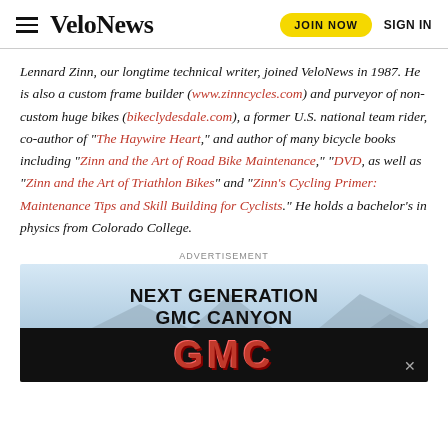VeloNews | JOIN NOW | SIGN IN
Lennard Zinn, our longtime technical writer, joined VeloNews in 1987. He is also a custom frame builder (www.zinncycles.com) and purveyor of non-custom huge bikes (bikeclydesdale.com), a former U.S. national team rider, co-author of “The Haywire Heart,” and author of many bicycle books including “Zinn and the Art of Road Bike Maintenance,” “DVD, as well as “Zinn and the Art of Triathlon Bikes” and “Zinn’s Cycling Primer: Maintenance Tips and Skill Building for Cyclists.” He holds a bachelor’s in physics from Colorado College.
ADVERTISEMENT
[Figure (photo): GMC Canyon advertisement banner showing mountain landscape with text 'NEXT GENERATION GMC CANYON' and GMC logo on dark background]